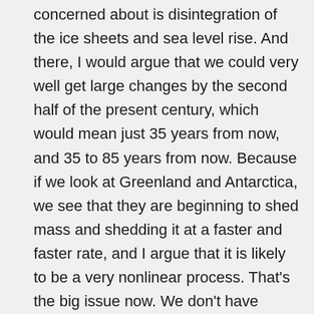concerned about is disintegration of the ice sheets and sea level rise. And there, I would argue that we could very well get large changes by the second half of the present century, which would mean just 35 years from now, and 35 to 85 years from now. Because if we look at Greenland and Antarctica, we see that they are beginning to shed mass and shedding it at a faster and faster rate, and I argue that it is likely to be a very nonlinear process. That's the big issue now. We don't have models for ice sheets that we can trust to give us an accurate prediction for how soon we can get multi-meter sea level rise, but if we look at the Earth's history we know that there've been numerous times when sea level went up several meters in the century—and that's what we can't let happen—because that would mean all of the history associated with all of our coastal cities would be lost. But it's more